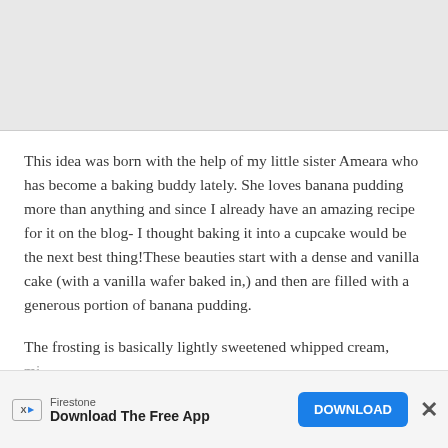[Figure (photo): Gray image placeholder area at top of page]
This idea was born with the help of my little sister Ameara who has become a baking buddy lately. She loves banana pudding more than anything and since I already have an amazing recipe for it on the blog- I thought baking it into a cupcake would be the next best thing!These beauties start with a dense and vanilla cake (with a vanilla wafer baked in,) and then are filled with a generous portion of banana pudding.
The frosting is basically lightly sweetened whipped cream, mi...